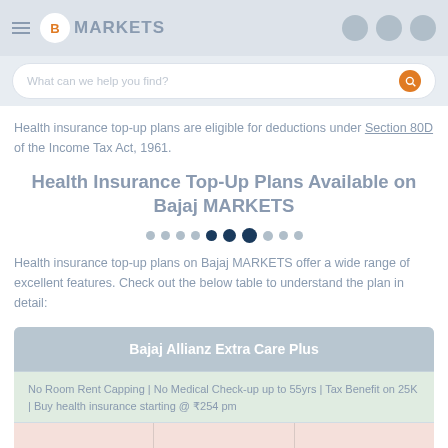B MARKETS — navigation bar with search
Health insurance top-up plans are eligible for deductions under Section 80D of the Income Tax Act, 1961.
Health Insurance Top-Up Plans Available on Bajaj MARKETS
[Figure (other): Carousel navigation dots, with two larger darker dots indicating current position]
Health insurance top-up plans on Bajaj MARKETS offer a wide range of excellent features. Check out the below table to understand the plan in detail:
| Bajaj Allianz Extra Care Plus |
| --- |
| No Room Rent Capping | No Medical Check-up up to 55yrs | Tax Benefit on 25K | Buy health insurance starting @ ₹254 pm |
CHECK PLANS